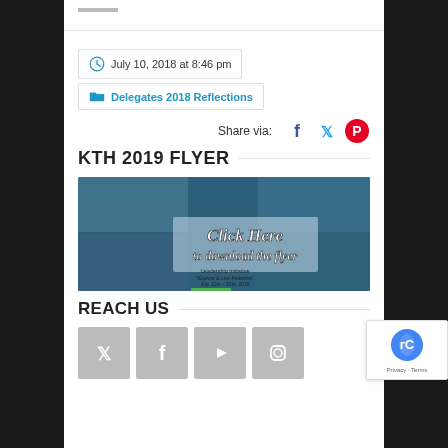July 10, 2018 at 8:46 pm
Delegates 2018 Reflections
Share via:
KTH 2019 FLYER
[Figure (photo): KTH 2019 flyer image with collage of people and text 'Click Here to download the flyer' over a blue background with leadership initiative details]
REACH US
[Figure (infographic): Four grey social media icon buttons: Twitter, Facebook, YouTube, Instagram]